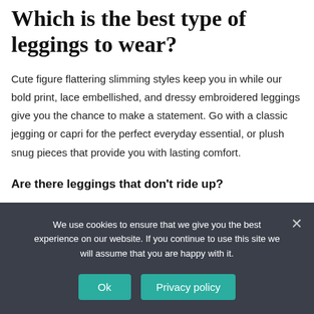Which is the best type of leggings to wear?
Cute figure flattering slimming styles keep you in while our bold print, lace embellished, and dressy embroidered leggings give you the chance to make a statement. Go with a classic jegging or capri for the perfect everyday essential, or plush snug pieces that provide you with lasting comfort.
Are there leggings that don't ride up?
We use cookies to ensure that we give you the best experience on our website. If you continue to use this site we will assume that you are happy with it.